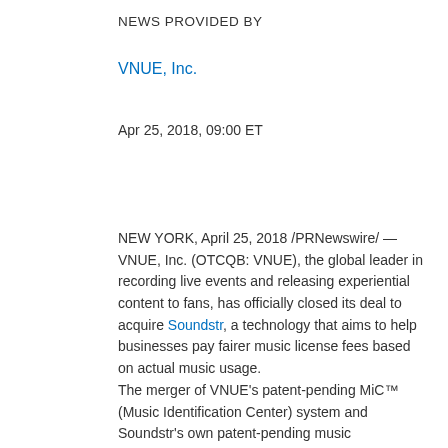NEWS PROVIDED BY
VNUE, Inc.
Apr 25, 2018, 09:00 ET
NEW YORK, April 25, 2018 /PRNewswire/ — VNUE, Inc. (OTCQB: VNUE), the global leader in recording live events and releasing experiential content to fans, has officially closed its deal to acquire Soundstr, a technology that aims to help businesses pay fairer music license fees based on actual music usage. The merger of VNUE's patent-pending MiC™ (Music Identification Center) system and Soundstr's own patent-pending music identification technology and hardware aims to fix the current performing rights system. Currently, venues and other businesses are